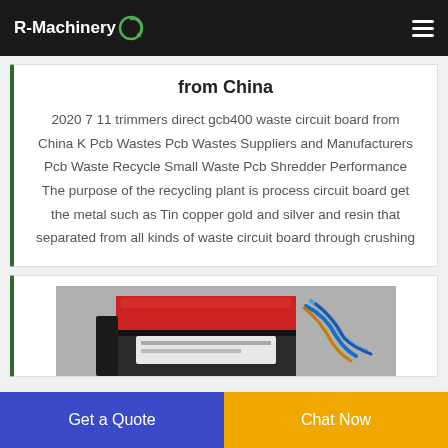R-Machinery
from China
2020 7 11 trimmers direct gcb400 waste circuit board from China K Pcb Wastes Pcb Wastes Suppliers and Manufacturers Pcb Waste Recycle Small Waste Pcb Shredder Performance The purpose of the recycling plant is process circuit board get the metal such as Tin copper gold and silver and resin that separated from all kinds of waste circuit board through crushing
[Figure (photo): Photo of a red and black industrial shredder/recycling machine with cables visible in the background]
Get a Quote
Chat Now